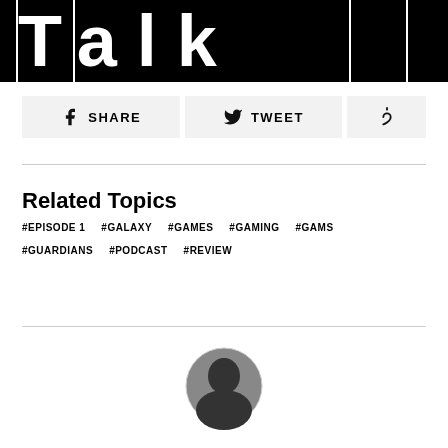[Figure (logo): Black banner with large white bold text 'Talk' with grid column dividers]
SHARE   TWEET   (Pinterest icon)
Related Topics
#EPISODE 1   #GALAXY   #GAMES   #GAMING   #GAMS
#GUARDIANS   #PODCAST   #REVIEW
[Figure (photo): Circular avatar photo of a person, partially visible at bottom of page]